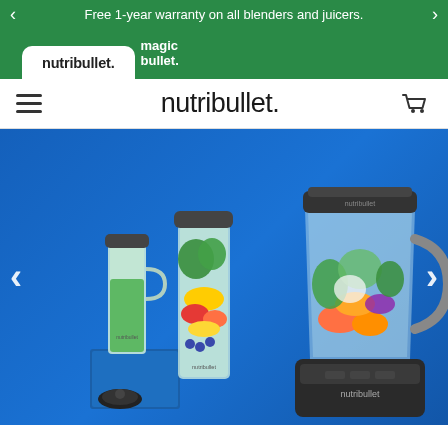Free 1-year warranty on all blenders and juicers.
[Figure (screenshot): Website navigation tab bar showing 'nutribullet' tab (active, white) and 'magic bullet' tab on a green background]
[Figure (logo): nutribullet logo centered in white navigation bar with hamburger menu icon on left and shopping cart icon on right]
[Figure (photo): Hero image on blue background showing nutribullet blenders and juicers: a large countertop blender filled with colorful fruits and vegetables on the right, and personal blender cups with green smoothie and mixed fruits on the left. nutribullet branding visible on large blender base.]